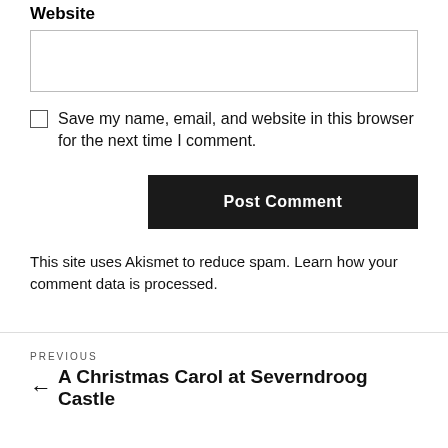Website
Save my name, email, and website in this browser for the next time I comment.
Post Comment
This site uses Akismet to reduce spam. Learn how your comment data is processed.
PREVIOUS
← A Christmas Carol at Severndroog Castle